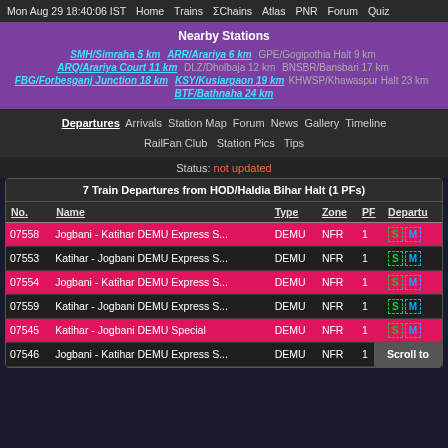Mon Aug 29 18:40:06 IST  Home  Trains  ΣChains  Atlas  PNR  Forum  Quiz
Nearby Stations
SMH/Simraha 5 km   ARR/Arariya 6 km   GPE/Gogipothia Halt 9 km   ARQ/Arariya Court 11 km   DLZ/Dholbaja 12 km   BNSBR/Bansbari 17 km   FBG/Forbesganj Junction 18 km   KSY/Kusiargaon 19 km   KHWSP/Khawaspur Halt 23 km   BTF/Bathnaha 24 km
Departures  Arrivals  Station Map  Forum  News  Gallery  Timeline  RailFan Club  Station Pics  Tips
Status: not updated
| No. | Name | Type | Zone | PF | Departu |
| --- | --- | --- | --- | --- | --- |
| 07558 | Jogbani - Katihar DEMU Express S... | DEMU | NFR | 1 | S M |
| 07553 | Katihar - Jogbani DEMU Express S... | DEMU | NFR | 1 | S M |
| 07554 | Jogbani - Katihar DEMU Express S... | DEMU | NFR | 1 | S M |
| 07559 | Katihar - Jogbani DEMU Express S... | DEMU | NFR | 1 | S M |
| 07545 | Katihar - Jogbani DEMU Special | DEMU | NFR | 1 | S M |
| 07546 | Jogbani - Katihar DEMU Express S... | DEMU | NFR | 1 | S M |